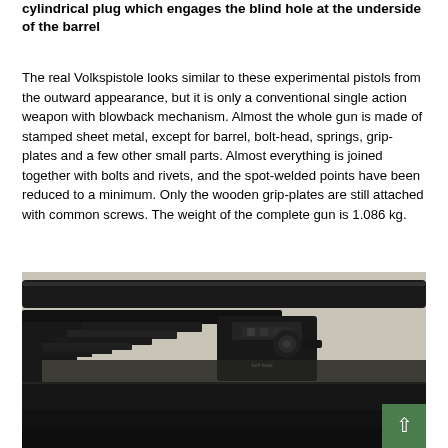cylindrical plug which engages the blind hole at the underside of the barrel
The real Volkspistole looks similar to these experimental pistols from the outward appearance, but it is only a conventional single action weapon with blowback mechanism. Almost the whole gun is made of stamped sheet metal, except for barrel, bolt-head, springs, grip-plates and a few other small parts. Almost everything is joined together with bolts and rivets, and the spot-welded points have been reduced to a minimum. Only the wooden grip-plates are still attached with common screws. The weight of the complete gun is 1.086 kg.
[Figure (photo): Close-up photograph of a disassembled firearm mechanism showing the barrel, bolt, and internal components from the underside angle. The metal parts are dark/black in color.]